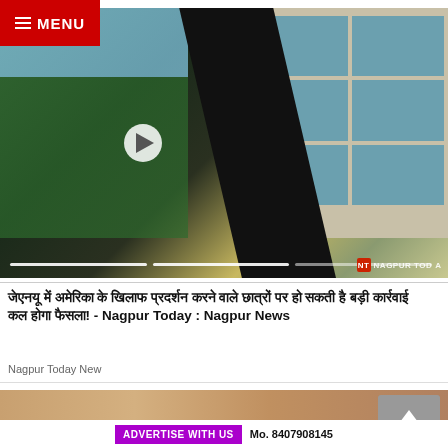MENU
[Figure (screenshot): Video thumbnail showing a black fabric/flag being held up in front of city buildings with trees. A play button is visible. Progress bar at bottom. NT Nagpur Today watermark.]
जेएनयू में अमेरिका के खिलाफ प्रदर्शन करने वाले छात्रों पर हो सकती है बड़ी कार्रवाई कल होगा फैसला! - Nagpur Today : Nagpur News
Nagpur Today New
[Figure (photo): Close-up photograph showing skin texture, possibly a face or body part, cropped at bottom of page.]
ADVERTISE WITH US  Mo. 8407908145